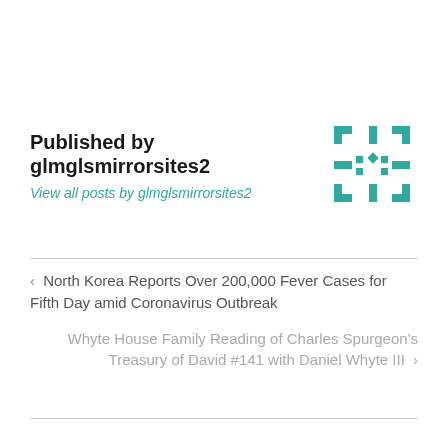Published by glmglsmirrorsites2
View all posts by glmglsmirrorsites2
[Figure (logo): Teal/turquoise geometric hashtag-like logo icon for glmglsmirrorsites2]
< North Korea Reports Over 200,000 Fever Cases for Fifth Day amid Coronavirus Outbreak
Whyte House Family Reading of Charles Spurgeon's Treasury of David #141 with Daniel Whyte III >